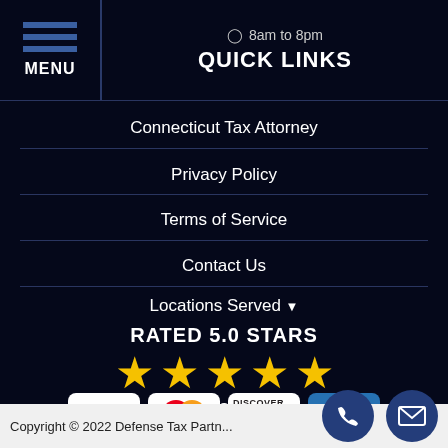MENU
8am to 8pm
QUICK LINKS
Connecticut Tax Attorney
Privacy Policy
Terms of Service
Contact Us
Locations Served ▾
RATED 5.0 STARS
(Based on 45 Client Reviews)
[Figure (infographic): Four payment card logos: VISA, Mastercard, Discover, American Express]
Copyright © 2022 Defense Tax Partners